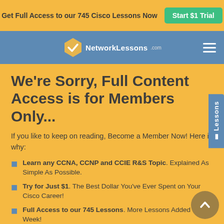Get Full Access to our 745 Cisco Lessons Now  Start $1 Trial
NetworkLessons
We're Sorry, Full Content Access is for Members Only...
If you like to keep on reading, Become a Member Now! Here is why:
Learn any CCNA, CCNP and CCIE R&S Topic. Explained As Simple As Possible.
Try for Just $1. The Best Dollar You've Ever Spent on Your Cisco Career!
Full Access to our 745 Lessons. More Lessons Added Every Week!
Content created by Rene Molenaar (CCIE #41726)